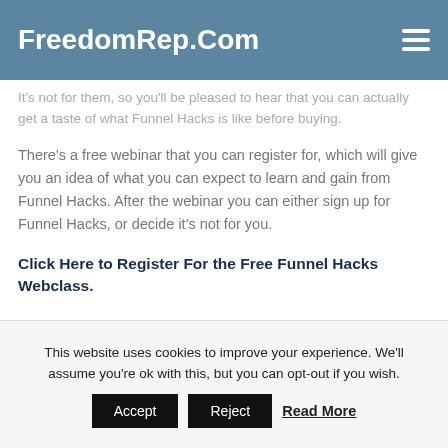FreedomRep.Com
It's not for them, so you'll be pleased to hear that you can actually get a taste of what Funnel Hacks is like before buying.
There's a free webinar that you can register for, which will give you an idea of what you can expect to learn and gain from Funnel Hacks. After the webinar you can either sign up for Funnel Hacks, or decide it's not for you.
Click Here to Register For the Free Funnel Hacks Webclass.
This website uses cookies to improve your experience. We'll assume you're ok with this, but you can opt-out if you wish. Accept Reject Read More